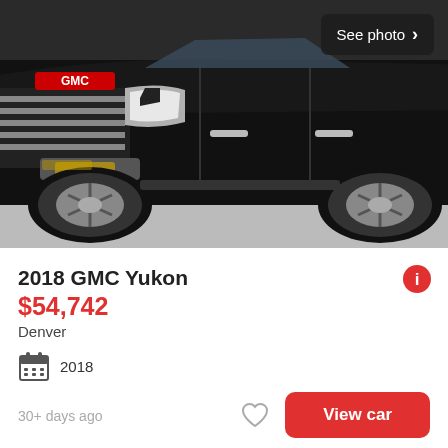[Figure (photo): Front view of a black GMC Yukon SUV, showing grille, headlights, and large chrome wheels. 'See photo >' overlay button in top right corner.]
2018 GMC Yukon
$54,742
Denver
2018
30+ days ago
View car
[Figure (photo): Partial front view of a dark-colored SUV or truck, showing hood and windshield area.]